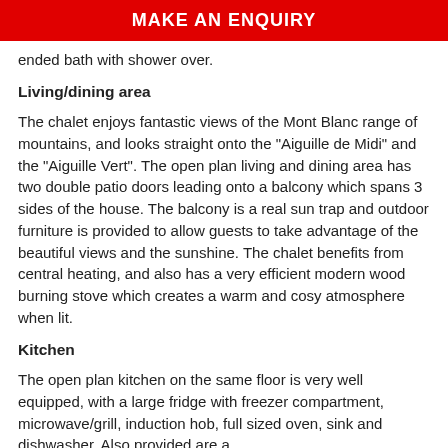MAKE AN ENQUIRY
ended bath with shower over.
Living/dining area
The chalet enjoys fantastic views of the Mont Blanc range of mountains, and looks straight onto the "Aiguille de Midi" and the "Aiguille Vert". The open plan living and dining area has two double patio doors leading onto a balcony which spans 3 sides of the house. The balcony is a real sun trap and outdoor furniture is provided to allow guests to take advantage of the beautiful views and the sunshine. The chalet benefits from central heating, and also has a very efficient modern wood burning stove which creates a warm and cosy atmosphere when lit.
Kitchen
The open plan kitchen on the same floor is very well equipped, with a large fridge with freezer compartment, microwave/grill, induction hob, full sized oven, sink and dishwasher. Also provided are a